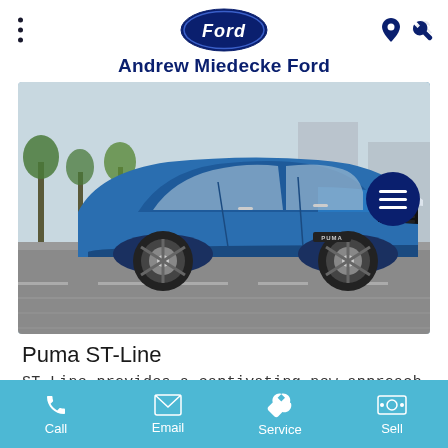Andrew Miedecke Ford
[Figure (photo): Blue Ford Puma ST-Line car driving on a road, front three-quarter view, with trees and buildings in background. A dark navy circular hamburger menu button overlaps the top-right of the image.]
Puma ST-Line
ST-Line provides a captivating new approach to our innovative sports series.
Call  Email  Service  Sell